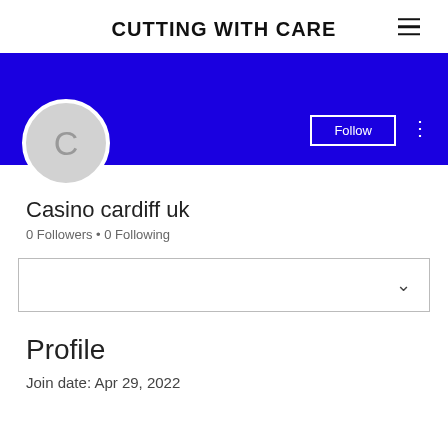CUTTING WITH CARE
[Figure (screenshot): Blue banner background with Follow button and three-dot menu icon, and a circular avatar with letter C]
Casino cardiff uk
0 Followers • 0 Following
[Figure (other): Dropdown selector box with chevron down icon]
Profile
Join date: Apr 29, 2022